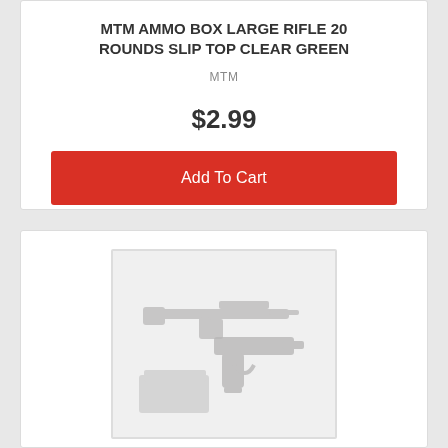MTM AMMO BOX LARGE RIFLE 20 ROUNDS SLIP TOP CLEAR GREEN
MTM
$2.99
Add To Cart
[Figure (photo): Placeholder image with silhouettes of a rifle, handgun, and ammunition box on a light grey background]
MTM AMMO CAN MINI FOR BULK AMMO DARK EARTH LOCKABLE
MTM